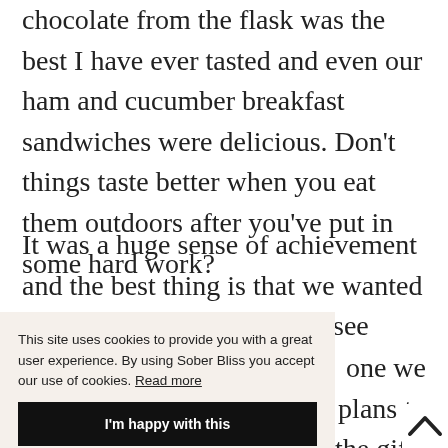chocolate from the flask was the best I have ever tasted and even our ham and cucumber breakfast sandwiches were delicious. Don't things taste better when you eat them outdoors after you've put in some hard work?
It was a huge sense of achievement and the best thing is that we wanted to carry on, to do more and see what we can do next.
one we made plans to one of the gifts onfidence, the
This site uses cookies to provide you with a great user experience. By using Sober Bliss you accept our use of cookies. Read more
I'm happy with this